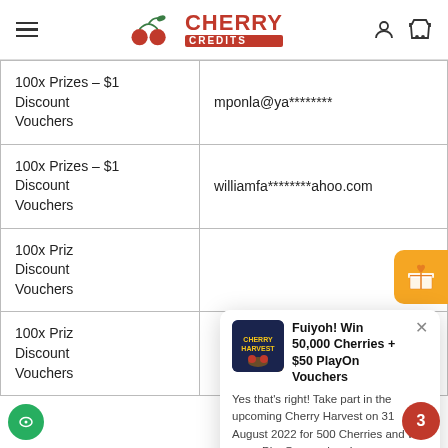Cherry Credits
| Prize | Winner |
| --- | --- |
| 100x Prizes - $1 Discount Vouchers | mponla@ya******** |
| 100x Prizes - $1 Discount Vouchers | williamfa********ahoo.com |
| 100x Prizes - $1 Discount Vouchers |  |
| 100x Prizes - $1 Discount Vouchers |  |
[Figure (screenshot): Popup modal: 'Fuiyoh! Win 50,000 Cherries + $50 PlayOn Vouchers' with Cherry Harvest image, promotional text, and Buy Tickets Now button]